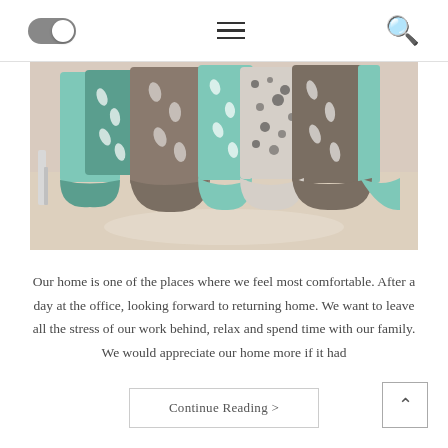[toggle] [hamburger menu] [search icon]
[Figure (photo): Close-up photo of bed linens and pillows in teal, gray, white with leaf patterns on a light wood floor]
Our home is one of the places where we feel most comfortable. After a day at the office, looking forward to returning home. We want to leave all the stress of our work behind, relax and spend time with our family. We would appreciate our home more if it had
Continue Reading >
^